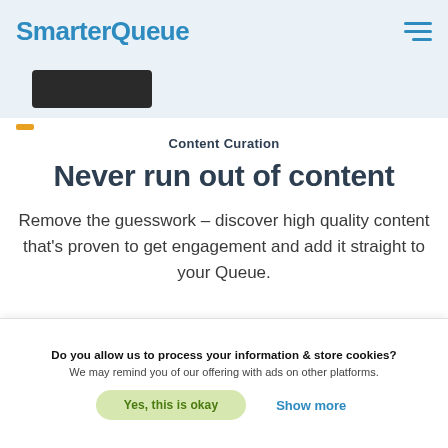SmarterQueue
[Figure (screenshot): Partial dark UI element visible below the navigation header]
Content Curation
Never run out of content
Remove the guesswork – discover high quality content that's proven to get engagement and add it straight to your Queue.
Do you allow us to process your information & store cookies? We may remind you of our offering with ads on other platforms.